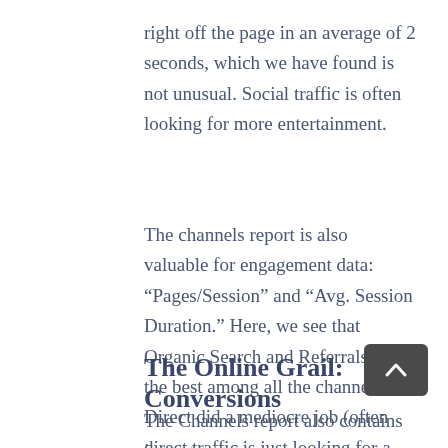right off the page in an average of 2 seconds, which we have found is not unusual. Social traffic is often looking for more entertainment.
The channels report is also valuable for engagement data: “Pages/Session” and “Avg. Session Duration.” Here, we see that Organic Search and Referrals did the best among all the channels. Direct did a mediocre job (often direct traffic is just looking for a specific piece of information like an address or phone number), as did email, and Social was weak.
The Online Grail: Conversions
The Channels report also contains important information about which channels are most